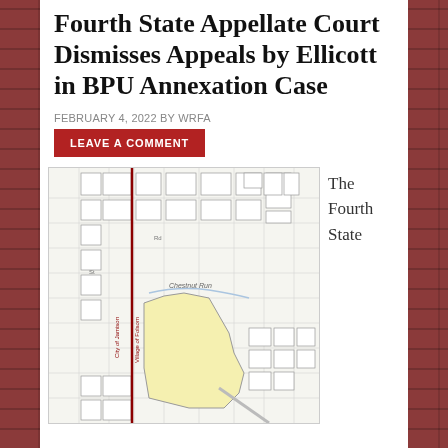Fourth State Appellate Court Dismisses Appeals by Ellicott in BPU Annexation Case
FEBRUARY 4, 2022 BY WRFA
LEAVE A COMMENT
[Figure (map): Street map showing a highlighted yellow parcel near Chestnut Run, with a red vertical boundary line marking City of Jamison / Village of Folsom boundary, and surrounding street grid.]
The Fourth State